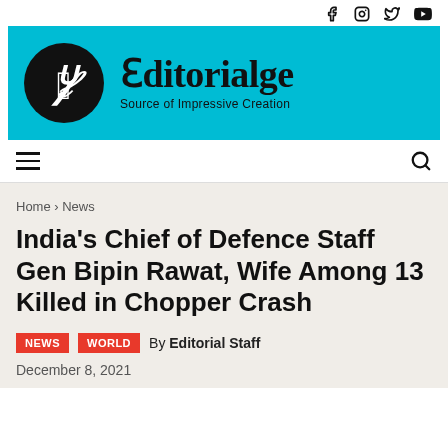f  Instagram  Twitter  YouTube (social icons)
[Figure (logo): Editorialge logo on cyan/blue background with decorative circle icon on left and blackletter text 'Editorialge' and subtitle 'Source of Impressive Creation']
hamburger menu and search icon navigation bar
Home › News
India's Chief of Defence Staff Gen Bipin Rawat, Wife Among 13 Killed in Chopper Crash
NEWS   WORLD   By Editorial Staff
December 8, 2021